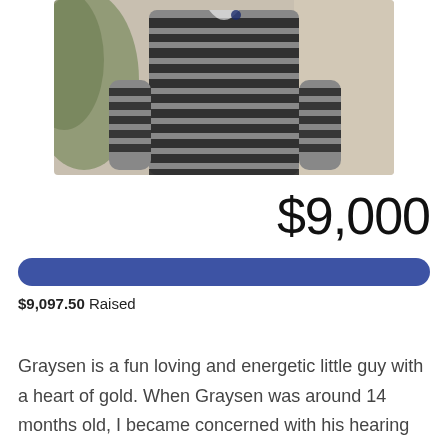[Figure (photo): A child or person wearing a black and gray striped sweater, photographed outdoors with a blurred natural background.]
$9,000
[Figure (infographic): A filled blue progress bar indicating fundraising progress toward $9,000 goal.]
$9,097.50
Raised
Graysen is a fun loving and energetic little guy with a heart of gold. When Graysen was around 14 months old, I became concerned with his hearing and speech.